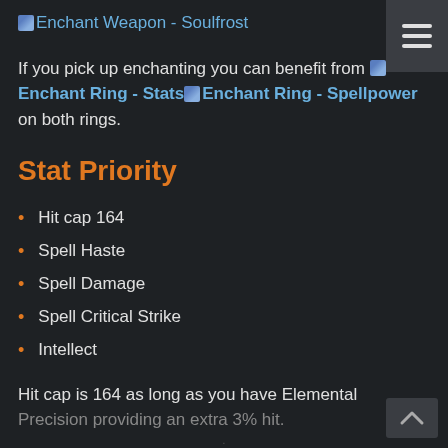Enchant Weapon - Soulfrost
If you pick up enchanting you can benefit from Enchant Ring - Stats Enchant Ring - Spellpower on both rings.
Stat Priority
Hit cap 164
Spell Haste
Spell Damage
Spell Critical Strike
Intellect
Hit cap is 164 as long as you have Elemental Precision providing an extra 3% hit.